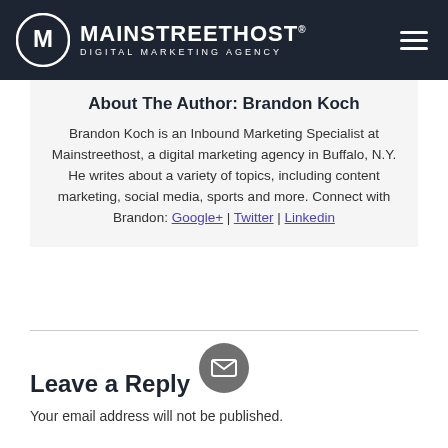MAINSTREETHOST® DIGITAL MARKETING AGENCY
About The Author: Brandon Koch
Brandon Koch is an Inbound Marketing Specialist at Mainstreethost, a digital marketing agency in Buffalo, N.Y. He writes about a variety of topics, including content marketing, social media, sports and more. Connect with Brandon: Google+ | Twitter | Linkedin
[Figure (illustration): Gray circular email icon button]
Leave a Reply
Your email address will not be published.